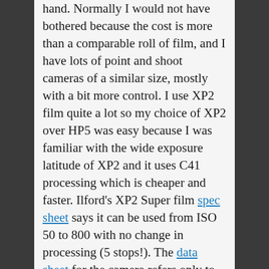hand. Normally I would not have bothered because the cost is more than a comparable roll of film, and I have lots of point and shoot cameras of a similar size, mostly with a bit more control. I use XP2 film quite a lot so my choice of XP2 over HP5 was easy because I was familiar with the wide exposure latitude of XP2 and it uses C41 processing which is cheaper and faster. Ilford's XP2 Super film spec sheet says it can be used from ISO 50 to 800 with no change in processing (5 stops!). The data sheet for the camera refers only to XP2, not XP2 Super (XP2 is an older version of the film). However, the camera is labelled as XP2 Super.

So, to get to the point, how is it? I am quite pleased with a few pictures. A mass produced plastic lens, complete with internal dust, can't be expected...